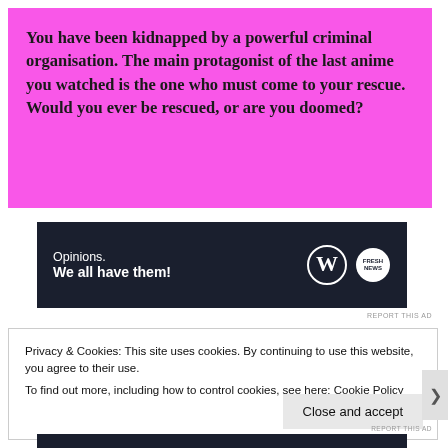You have been kidnapped by a powerful criminal organisation. The main protagonist of the last anime you watched is the one who must come to your rescue. Would you ever be rescued, or are you doomed?
[Figure (other): Dark navy advertisement banner with white text reading 'Opinions. We all have them!' alongside WordPress logo and Fresh News logo on the right.]
REPORT THIS AD
Privacy & Cookies: This site uses cookies. By continuing to use this website, you agree to their use.
To find out more, including how to control cookies, see here: Cookie Policy
Close and accept